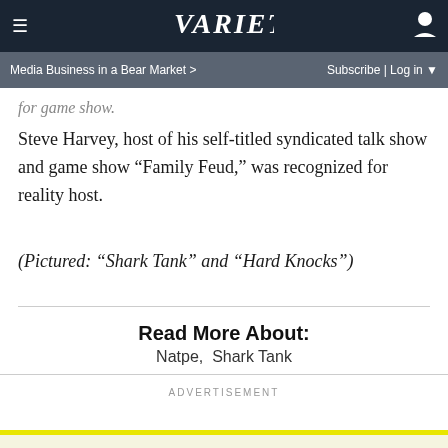VARIETY — Media Business in a Bear Market > | Subscribe | Log in
for game show.
Steve Harvey, host of his self-titled syndicated talk show and game show “Family Feud,” was recognized for reality host.
(Pictured: “Shark Tank” and “Hard Knocks”)
Read More About:
Natpe,  Shark Tank
ADVERTISEMENT